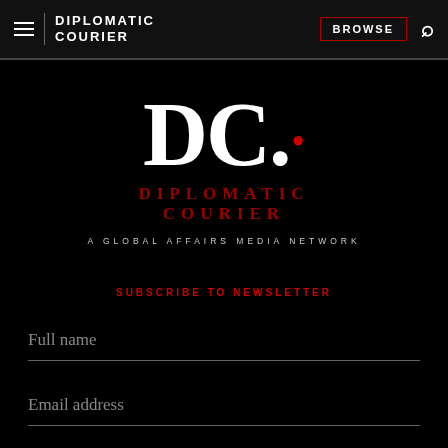DIPLOMATIC COURIER | BROWSE
[Figure (logo): Diplomatic Courier logo: DC. in large white serif letters with red dot, DIPLOMATIC COURIER in red below, tagline A GLOBAL AFFAIRS MEDIA NETWORK]
SUBSCRIBE TO NEWSLETTER
Full name
Email address